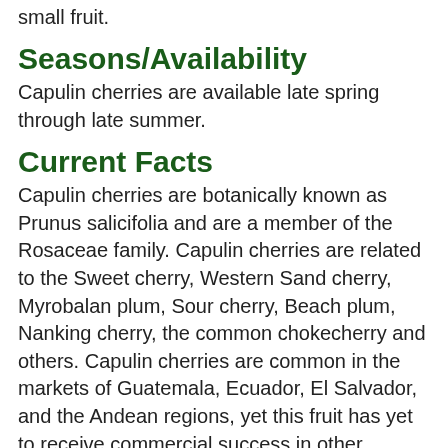small fruit.
Seasons/Availability
Capulin cherries are available late spring through late summer.
Current Facts
Capulin cherries are botanically known as Prunus salicifolia and are a member of the Rosaceae family. Capulin cherries are related to the Sweet cherry, Western Sand cherry, Myrobalan plum, Sour cherry, Beach plum, Nanking cherry, the common chokecherry and others. Capulin cherries are common in the markets of Guatemala, Ecuador, El Salvador, and the Andean regions, yet this fruit has yet to receive commercial success in other countries. Common names for this fruit include Capulin, Capuli, Capolin, Ascerezo, Deste, Detze, Taunday, Jonote, or Cerezo Criollo. A few growers are experimenting with grafting or utilizing Capulin cherries as rootstock with commercial cultivars of